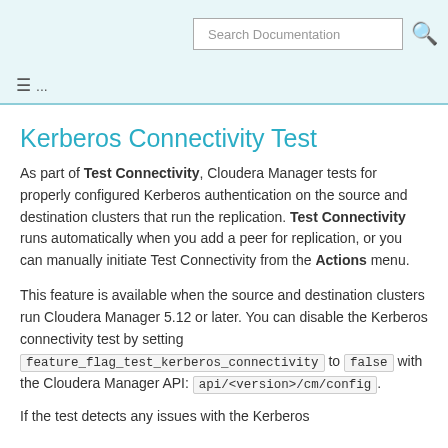Search Documentation
Kerberos Connectivity Test
As part of Test Connectivity, Cloudera Manager tests for properly configured Kerberos authentication on the source and destination clusters that run the replication. Test Connectivity runs automatically when you add a peer for replication, or you can manually initiate Test Connectivity from the Actions menu.
This feature is available when the source and destination clusters run Cloudera Manager 5.12 or later. You can disable the Kerberos connectivity test by setting feature_flag_test_kerberos_connectivity to false with the Cloudera Manager API: api/<version>/cm/config.
If the test detects any issues with the Kerberos